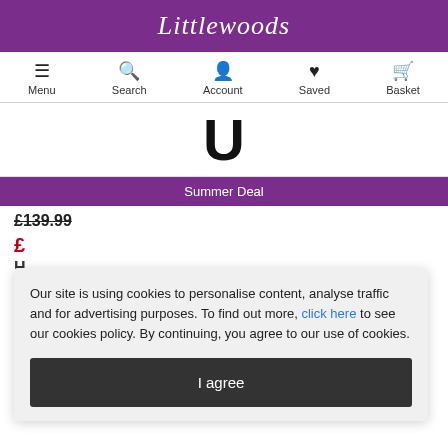Littlewoods
Menu  Search  Account  Saved  Basket
[Figure (illustration): Partial product image showing what appears to be a black number or letter shape on white background]
Summer Deal
£139.99
£ (sale price partially visible)
Our site is using cookies to personalise content, analyse traffic and for advertising purposes. To find out more, click here to see our cookies policy. By continuing, you agree to our use of cookies.
I agree